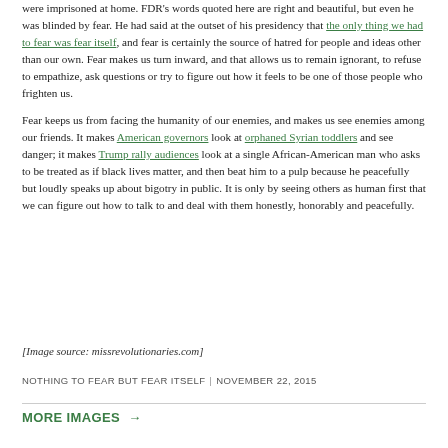were imprisoned at home. FDR's words quoted here are right and beautiful, but even he was blinded by fear. He had said at the outset of his presidency that the only thing we had to fear was fear itself, and fear is certainly the source of hatred for people and ideas other than our own. Fear makes us turn inward, and that allows us to remain ignorant, to refuse to empathize, ask questions or try to figure out how it feels to be one of those people who frighten us.
Fear keeps us from facing the humanity of our enemies, and makes us see enemies among our friends. It makes American governors look at orphaned Syrian toddlers and see danger; it makes Trump rally audiences look at a single African-American man who asks to be treated as if black lives matter, and then beat him to a pulp because he peacefully but loudly speaks up about bigotry in public. It is only by seeing others as human first that we can figure out how to talk to and deal with them honestly, honorably and peacefully.
[Image source: missrevolutionaries.com]
NOTHING TO FEAR BUT FEAR ITSELF | NOVEMBER 22, 2015
MORE IMAGES →